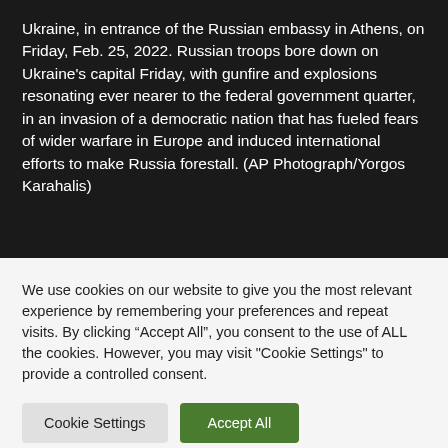Ukraine, in entrance of the Russian embassy in Athens, on Friday, Feb. 25, 2022. Russian troops bore down on Ukraine's capital Friday, with gunfire and explosions resonating ever nearer to the federal government quarter, in an invasion of a democratic nation that has fueled fears of wider warfare in Europe and induced international efforts to make Russia forestall. (AP Photograph/Yorgos Karahalis)
We use cookies on our website to give you the most relevant experience by remembering your preferences and repeat visits. By clicking “Accept All”, you consent to the use of ALL the cookies. However, you may visit "Cookie Settings" to provide a controlled consent.